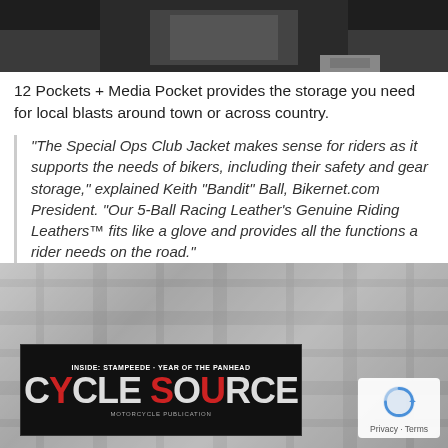[Figure (photo): Dark photograph showing a person's lower body, partial view]
12 Pockets + Media Pocket provides the storage you need for local blasts around town or across country.
“The Special Ops Club Jacket makes sense for riders as it supports the needs of bikers, including their safety and gear storage,” explained Keith “Bandit” Ball, Bikernet.com President. “Our 5-Ball Racing Leather’s Genuine Riding Leathers™ fits like a glove and provides all the functions a rider needs on the road.”
[Figure (photo): Photo of a plaid jacket with a motorcycle magazine (Cycle Source) patch/magazine lying on top]